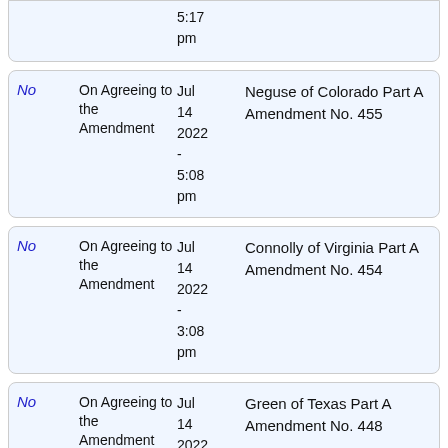| Vote | Action | Date | Description |
| --- | --- | --- | --- |
| No | On Agreeing to the Amendment | Jul 14 2022 - 5:17 pm | Neguse of Colorado Part A Amendment No. 455 |
| No | On Agreeing to the Amendment | Jul 14 2022 - 5:08 pm | Neguse of Colorado Part A Amendment No. 455 |
| No | On Agreeing to the Amendment | Jul 14 2022 - 3:08 pm | Connolly of Virginia Part A Amendment No. 454 |
| No | On Agreeing to the Amendment | Jul 14 2022 - 3:01 pm | Green of Texas Part A Amendment No. 448 |